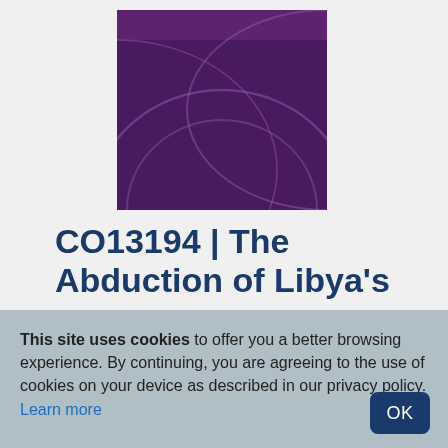[Figure (illustration): Book cover with dark purple background and circular arc design lines in lighter purple]
CO13194 | The Abduction of Libya's
This site uses cookies to offer you a better browsing experience. By continuing, you are agreeing to the use of cookies on your device as described in our privacy policy. Learn more